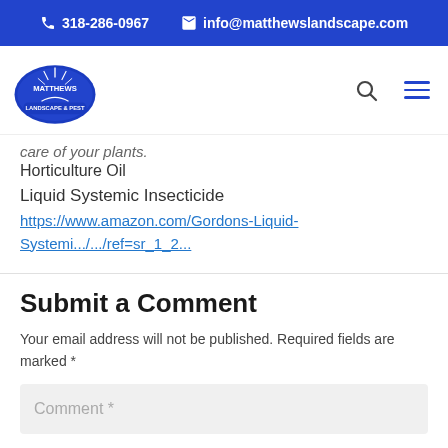📞 318-286-0967   ✉ info@matthewslandscape.com
[Figure (logo): Matthews Landscape & Pest company logo — circular blue badge with plant/grass design]
care of your plants.
Horticulture Oil
Liquid Systemic Insecticide
https://www.amazon.com/Gordons-Liquid-Systemi.../.../ref=sr_1_2...
Submit a Comment
Your email address will not be published. Required fields are marked *
Comment *